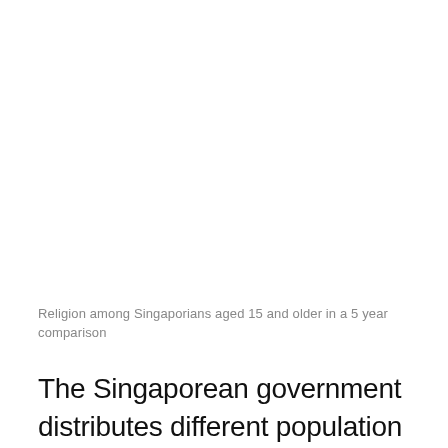Religion among Singaporians aged 15 and older in a 5 year comparison
The Singaporean government distributes different population groups among the residential districts